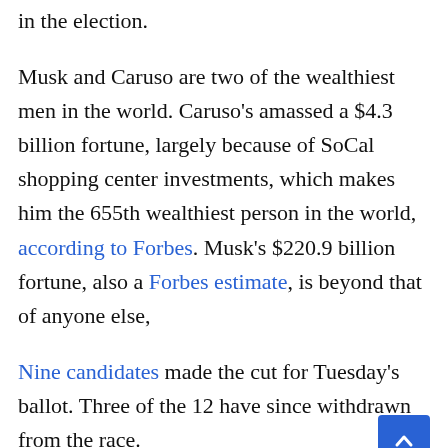in the election.
Musk and Caruso are two of the wealthiest men in the world. Caruso's amassed a $4.3 billion fortune, largely because of SoCal shopping center investments, which makes him the 655th wealthiest person in the world, according to Forbes. Musk's $220.9 billion fortune, also a Forbes estimate, is beyond that of anyone else,
Nine candidates made the cut for Tuesday's ballot. Three of the 12 have since withdrawn from the race.
Of the dropouts, both Councilman Joe